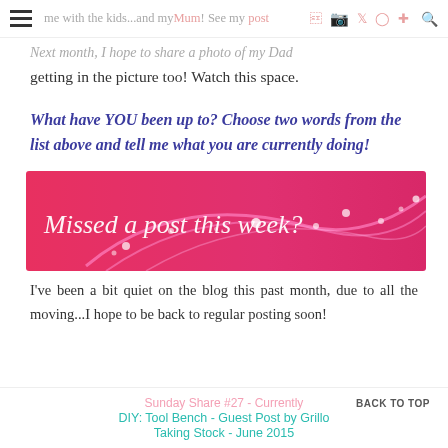at Maxabella Loves. This week I shared a few photos me with the kids...and my Mum! See my post Next month, I hope to share a photo of my Dad
getting in the picture too! Watch this space.
What have YOU been up to? Choose two words from the list above and tell me what you are currently doing!
[Figure (illustration): Pink banner with text 'Missed a post this week?' and decorative swirling lines and dots on a pink/red gradient background]
I've been a bit quiet on the blog this past month, due to all the moving...I hope to be back to regular posting soon!
Sunday Share #27 - Currently
DIY: Tool Bench - Guest Post by Grillo  BACK TO TOP
Taking Stock - June 2015